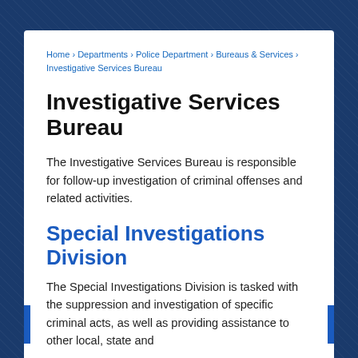Home › Departments › Police Department › Bureaus & Services › Investigative Services Bureau
Investigative Services Bureau
The Investigative Services Bureau is responsible for follow-up investigation of criminal offenses and related activities.
Special Investigations Division
The Special Investigations Division is tasked with the suppression and investigation of specific criminal acts, as well as providing assistance to other local, state and